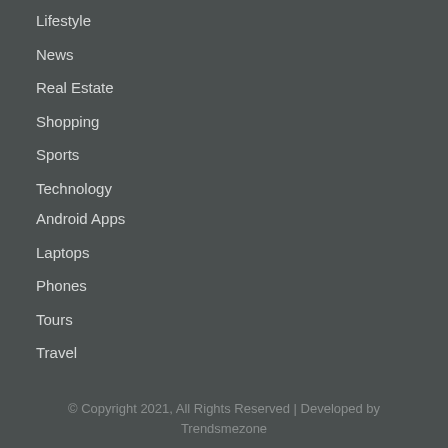Lifestyle
News
Real Estate
Shopping
Sports
Technology
Android Apps
Laptops
Phones
Tours
Travel
© Copyright 2021, All Rights Reserved | Developed by Trendsmezone